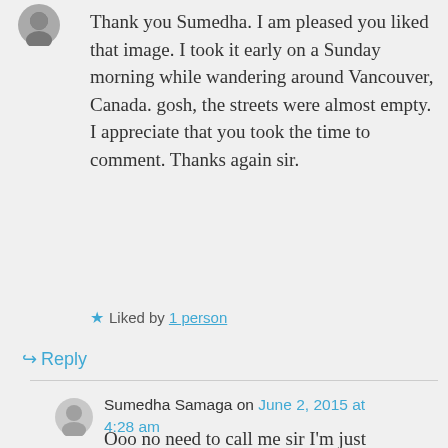[Figure (photo): Small circular avatar photo of a user at top left]
Thank you Sumedha. I am pleased you liked that image. I took it early on a Sunday morning while wandering around Vancouver, Canada. gosh, the streets were almost empty.
I appreciate that you took the time to comment. Thanks again sir.
★ Liked by 1 person
↳ Reply
[Figure (photo): Small circular grey default avatar for Sumedha Samaga]
Sumedha Samaga on June 2, 2015 at 4:28 am
Ooo no need to call me sir I'm just